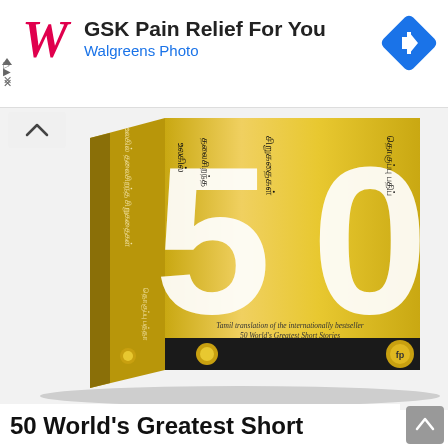[Figure (screenshot): Advertisement banner for GSK Pain Relief For You by Walgreens Photo, featuring the Walgreens red cursive W logo on the left, ad text in center, and a blue diamond navigation icon on the right. Contains a small triangle and X for ad controls on the far left.]
[Figure (photo): A gold box-set book titled '50 World's Greatest Short Stories' in Tamil translation. The box features large white numerals '50' on a gold background with Tamil script text reading the title. The front panel shows Tamil translation credit text in italic script. Publisher logo visible bottom right.]
50 World's Greatest Short